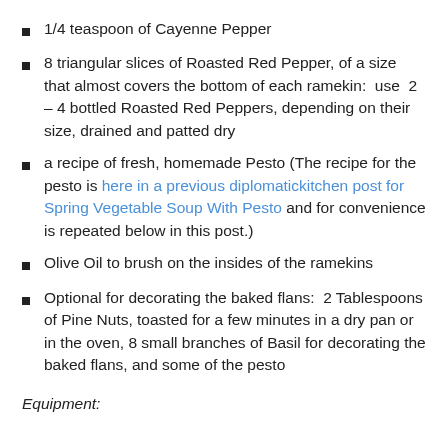1/4 teaspoon of Cayenne Pepper
8 triangular slices of Roasted Red Pepper, of a size that almost covers the bottom of each ramekin:  use  2 – 4 bottled Roasted Red Peppers, depending on their size, drained and patted dry
a recipe of fresh, homemade Pesto (The recipe for the pesto is here in a previous diplomatickitchen post for Spring Vegetable Soup With Pesto and for convenience is repeated below in this post.)
Olive Oil to brush on the insides of the ramekins
Optional for decorating the baked flans:  2 Tablespoons of Pine Nuts, toasted for a few minutes in a dry pan or in the oven, 8 small branches of Basil for decorating the baked flans, and some of the pesto
Equipment: